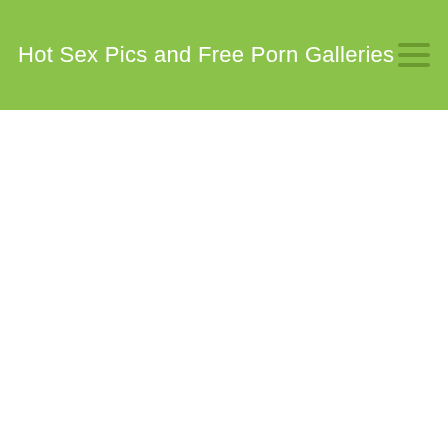Hot Sex Pics and Free Porn Galleries
[Figure (photo): Partial view of a human body, skin-toned, cropped photo in upper right area]